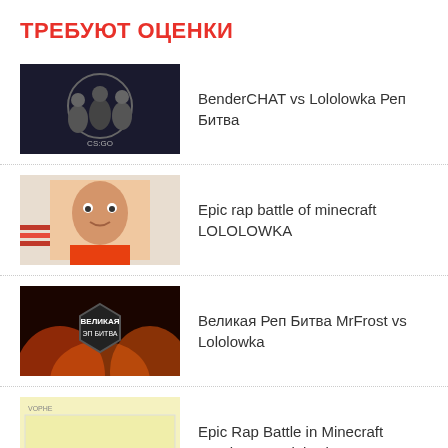ТРЕБУЮТ ОЦЕНКИ
BenderCHAT vs Lololowka Реп Битва
Epic rap battle of minecraft LOLOLOWKA
Великая Реп Битва MrFrost vs Lololowka
Epic Rap Battle in Minecraft Bender VS Lololowka
Lololowka Pepsi-6